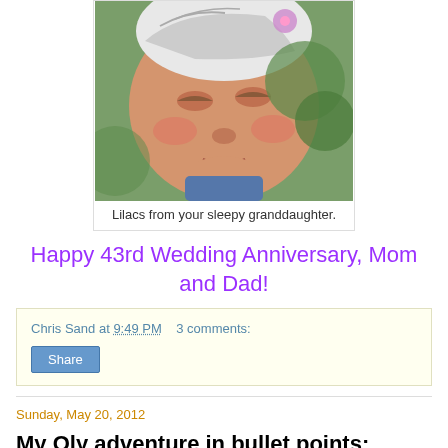[Figure (photo): Close-up photo of a sleeping baby wearing a patterned hat, with rosy cheeks, outdoors with green background]
Lilacs from your sleepy granddaughter.
Happy 43rd Wedding Anniversary, Mom and Dad!
Chris Sand at 9:49 PM   3 comments:
Share
Sunday, May 20, 2012
My Oly adventure in bullet points:
May 2.  Flew from Brooklyn to Seattle to be reunited with Hana, Stevie, and Gilda.  I befriended the passenger seated next to me, a